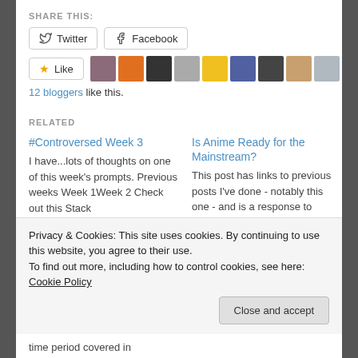SHARE THIS:
Twitter  Facebook
[Figure (other): Like button and 9 blogger avatar images]
12 bloggers like this.
RELATED
#Controversed Week 3
I have...lots of thoughts on one of this week's prompts. Previous weeks Week 1Week 2 Check out this Stack
November 19, 2020
Is Anime Ready for the Mainstream?
This post has links to previous posts I've done - notably this one - and is a response to Dewbond's question.
Privacy & Cookies: This site uses cookies. By continuing to use this website, you agree to their use.
To find out more, including how to control cookies, see here: Cookie Policy
Close and accept
time period covered in